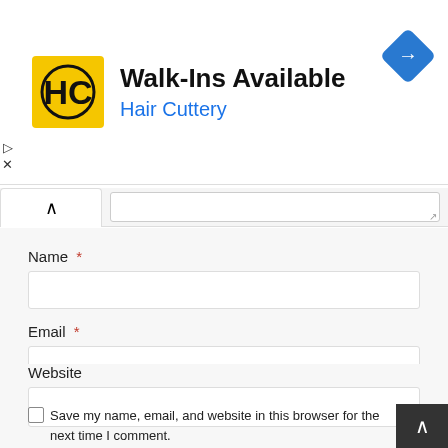[Figure (screenshot): Hair Cuttery advertisement banner with yellow HC logo, 'Walk-Ins Available' headline, 'Hair Cuttery' subtitle in blue, and a blue navigation icon on the right]
Name *
Email *
Website
Save my name, email, and website in this browser for the next time I comment.